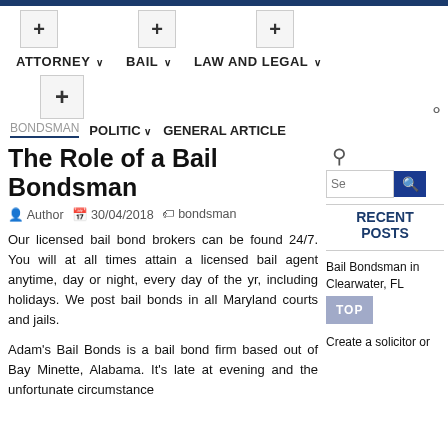ATTORNEY  BAIL  LAW AND LEGAL  POLITIC  GENERAL ARTICLE
BONDSMAN
The Role of a Bail Bondsman
Author  30/04/2018  bondsman
Our licensed bail bond brokers can be found 24/7. You will at all times attain a licensed bail agent anytime, day or night, every day of the yr, including holidays. We post bail bonds in all Maryland courts and jails.
Adam's Bail Bonds is a bail bond firm based out of Bay Minette, Alabama. It's late at evening and the unfortunate circumstance
RECENT POSTS
Bail Bondsman in Clearwater, FL
Create a solicitor or